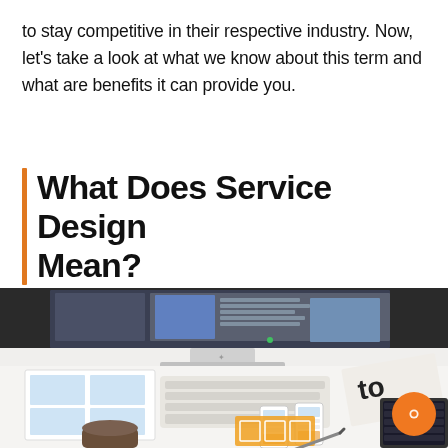to stay competitive in their respective industry. Now, let's take a look at what we know about this term and what are benefits it can provide you.
What Does Service Design Mean?
[Figure (photo): Overhead view of a desk with an iMac displaying a UI design, a keyboard, a coffee cup, wireframe printouts, mobile phone mockups on paper, a book titled 'to', and a laptop, suggesting a UX/service design workspace.]